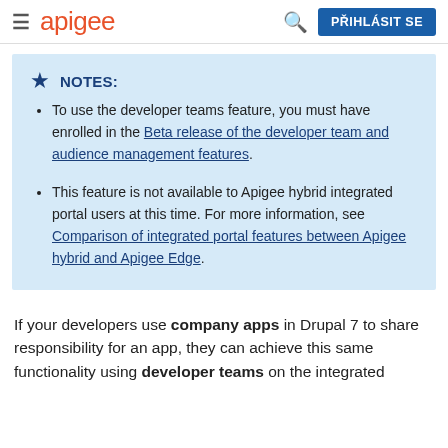≡ apigee  🔍  PŘIHLÁSIT SE
To use the developer teams feature, you must have enrolled in the Beta release of the developer team and audience management features.
This feature is not available to Apigee hybrid integrated portal users at this time. For more information, see Comparison of integrated portal features between Apigee hybrid and Apigee Edge.
If your developers use company apps in Drupal 7 to share responsibility for an app, they can achieve this same functionality using developer teams on the integrated